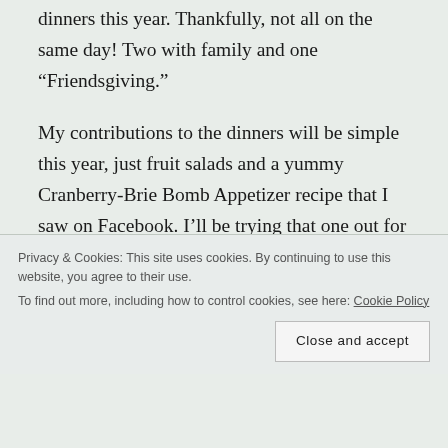dinners this year. Thankfully, not all on the same day! Two with family and one “Friendsgiving.”
My contributions to the dinners will be simple this year, just fruit salads and a yummy Cranberry-Brie Bomb Appetizer recipe that I saw on Facebook. I’ll be trying that one out for the first time this year. It looks delicious so hopefully it will turn out well. Here is a link to
Privacy & Cookies: This site uses cookies. By continuing to use this website, you agree to their use.
To find out more, including how to control cookies, see here: Cookie Policy
Close and accept